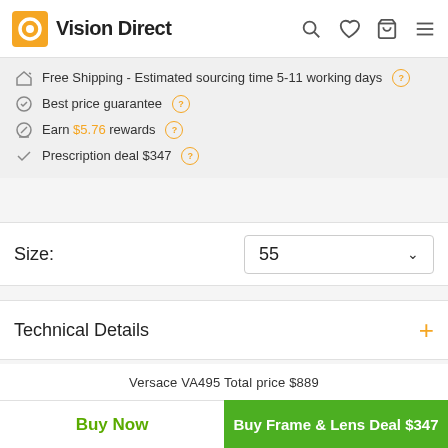Vision Direct
Free Shipping - Estimated sourcing time 5-11 working days
Best price guarantee
Earn $5.76 rewards
Prescription deal $347
Size: 55
Technical Details
Prescription Lenses
Versace VA495 Total price $889
Buy Now | Buy Frame & Lens Deal $347